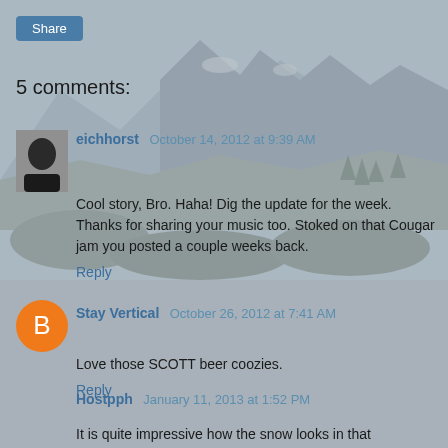[Figure (photo): Mountain landscape photo with rocky peaks, trees, and snow in background, used as page background with grey overlay]
Share
5 comments:
eichhorst October 14, 2012 at 9:39 AM
Cool story, Bro. Haha! Dig the update for the week. Thanks for sharing your music too. Stoked on that Cougar jam you posted a couple weeks back.
Reply
Stay Vertical October 26, 2012 at 7:41 AM
Love those SCOTT beer coozies.
Reply
Hostpph January 11, 2013 at 1:52 PM
It is quite impressive how the snow looks in that mountain. It is the first time that I see something like that.